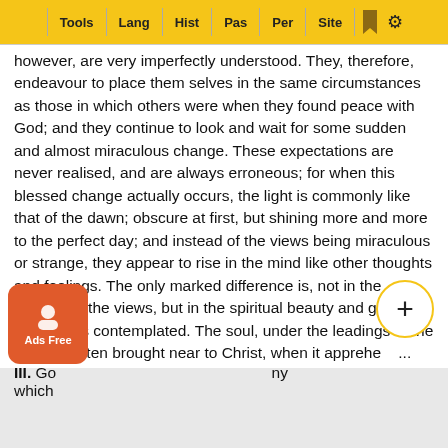Tools | Lang | Hist | Pas | Per | Site
however, are very imperfectly understood. They, therefore, endeavour to place them selves in the same circumstances as those in which others were when they found peace with God; and they continue to look and wait for some sudden and almost miraculous change. These expectations are never realised, and are always erroneous; for when this blessed change actually occurs, the light is commonly like that of the dawn; obscure at first, but shining more and more to the perfect day; and instead of the views being miraculous or strange, they appear to rise in the mind like other thoughts and feelings. The only marked difference is, not in the manner of the views, but in the spiritual beauty and glory of the objects contemplated. The soul, under the leadings of the Spirit, is often brought near to Christ, when it apprehended it was far off.
III. Go... ny which...